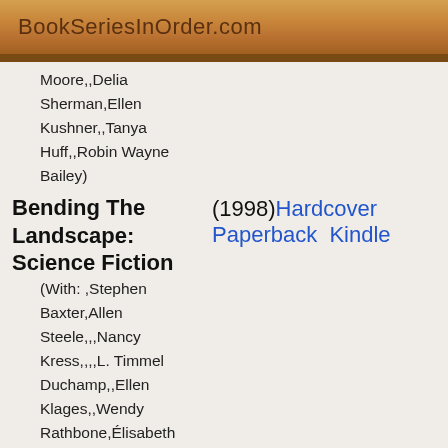BookSeriesInOrder.com
Moore,,Delia
Sherman,Ellen
Kushner,,Tanya
Huff,,Robin Wayne
Bailey)
Bending The Landscape: Science Fiction (1998) Hardcover Paperback Kindle
(With: ,Stephen
Baxter,Allen
Steele,,,Nancy
Kress,,,,L. Timmel
Duchamp,,Ellen
Klages,,Wendy
Rathbone,Élisabeth
Vonarburg)
Bending the Landscape: Original Gay and Lesbian Horror Writing (2001) Hardcover Paperback Kindle